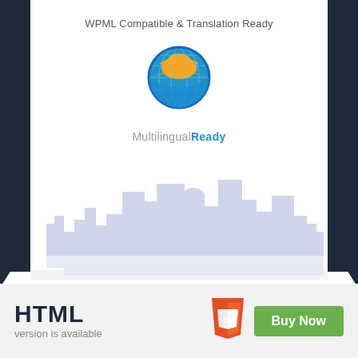WPML Compatible & Translation Ready
[Figure (logo): WPML globe logo with blue and orange segments, labeled 'Multilingual Ready' below]
[Figure (illustration): Light blue/lavender silhouette of a city skyline against a white background]
HTML version is available
[Figure (logo): HTML5 orange shield logo with white '5']
Buy Now